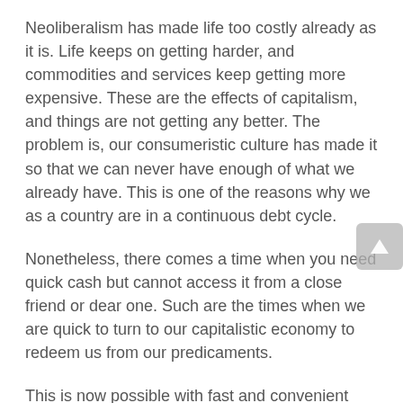Neoliberalism has made life too costly already as it is. Life keeps on getting harder, and commodities and services keep getting more expensive. These are the effects of capitalism, and things are not getting any better. The problem is, our consumeristic culture has made it so that we can never have enough of what we already have. This is one of the reasons why we as a country are in a continuous debt cycle.
Nonetheless, there comes a time when you need quick cash but cannot access it from a close friend or dear one. Such are the times when we are quick to turn to our capitalistic economy to redeem us from our predicaments.
This is now possible with fast and convenient Dodge Installment loans. The good thing is, Dodge has stipulated such strict measures and regulations against lenders, thereby making it convenient and affordable for consumers across all paycheck ranges to access Installment loans